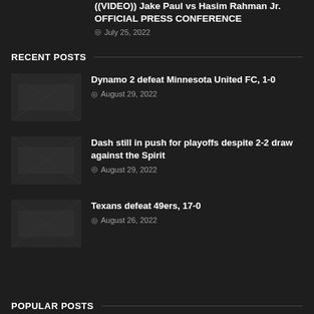((VIDEO)) Jake Paul vs Hasim Rahman Jr. OFFICIAL PRESS CONFERENCE
July 25, 2022
RECENT POSTS
Dynamo 2 defeat Minnesota United FC, 1-0
August 29, 2022
Dash still in push for playoffs despite 2-2 draw against the Spirit
August 29, 2022
Texans defeat 49ers, 17-0
August 26, 2022
POPULAR POSTS